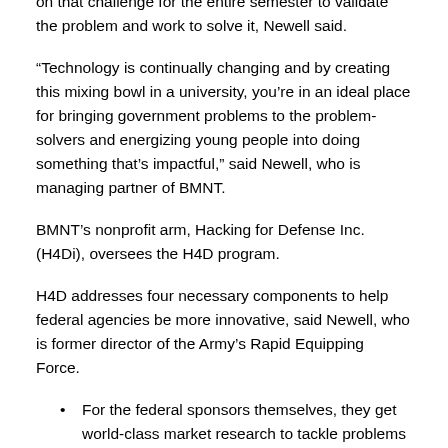on that challenge for the entire semester to validate the problem and work to solve it, Newell said.
“Technology is continually changing and by creating this mixing bowl in a university, you’re in an ideal place for bringing government problems to the problem-solvers and energizing young people into doing something that’s impactful,” said Newell, who is managing partner of BMNT.
BMNT’s nonprofit arm, Hacking for Defense Inc. (H4Di), oversees the H4D program.
H4D addresses four necessary components to help federal agencies be more innovative, said Newell, who is former director of the Army’s Rapid Equipping Force.
For the federal sponsors themselves, they get world-class market research to tackle problems at a faster pace than anywhere else and engage with